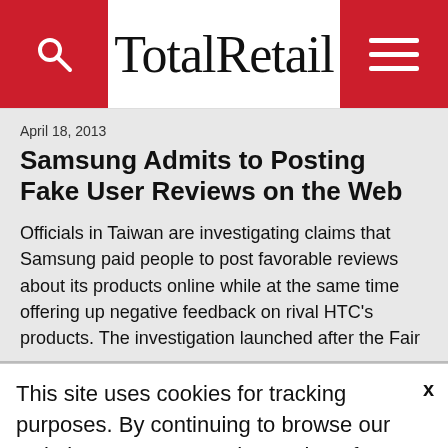TotalRetail
April 18, 2013
Samsung Admits to Posting Fake User Reviews on the Web
Officials in Taiwan are investigating claims that Samsung paid people to post favorable reviews about its products online while at the same time offering up negative feedback on rival HTC's products. The investigation launched after the Fair
This site uses cookies for tracking purposes. By continuing to browse our website, you agree to the storing of first- and third-party cookies on your device to enhance site navigation, analyze site
usage, and assist in our marketing and
Accept and Close ✕
Your browser settings do not allow cross-site tracking for advertising. Click on this page to allow AdRoll to use cross-site tracking to tailor ads to you. Learn more or opt out of this AdRoll tracking by clicking here. This message only appears once.